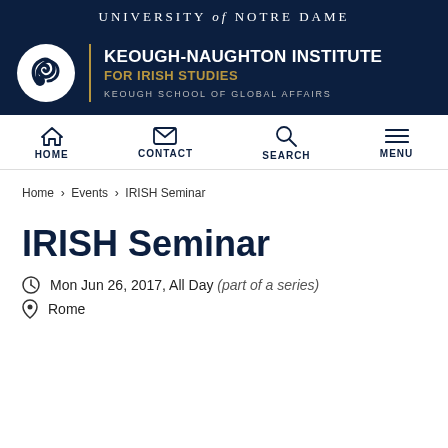UNIVERSITY of NOTRE DAME
[Figure (logo): Keough-Naughton Institute for Irish Studies logo with circular shamrock emblem and gold divider bar. Text: KEOUGH-NAUGHTON INSTITUTE FOR IRISH STUDIES, KEOUGH SCHOOL OF GLOBAL AFFAIRS]
HOME | CONTACT | SEARCH | MENU
Home › Events › IRISH Seminar
IRISH Seminar
Mon Jun 26, 2017, All Day (part of a series)
Rome